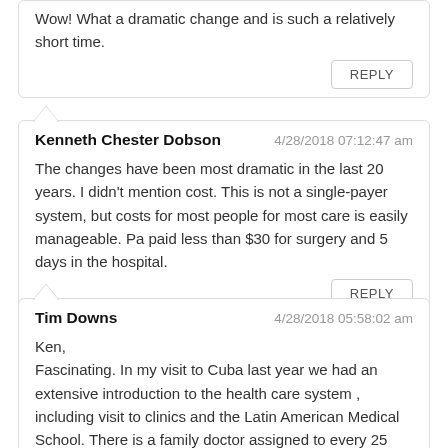Wow! What a dramatic change and is such a relatively short time.
REPLY
Kenneth Chester Dobson   4/28/2018 07:12:47 am
The changes have been most dramatic in the last 20 years. I didn't mention cost. This is not a single-payer system, but costs for most people for most care is easily manageable. Pa paid less than $30 for surgery and 5 days in the hospital.
REPLY
Tim Downs   4/28/2018 05:58:02 am
Ken,
Fascinating. In my visit to Cuba last year we had an extensive introduction to the health care system , including visit to clinics and the Latin American Medical School. There is a family doctor assigned to every 25 families, who keeps appointments only in the afternoon. The mornings are spent in the community doing house visits. The emphasis if the